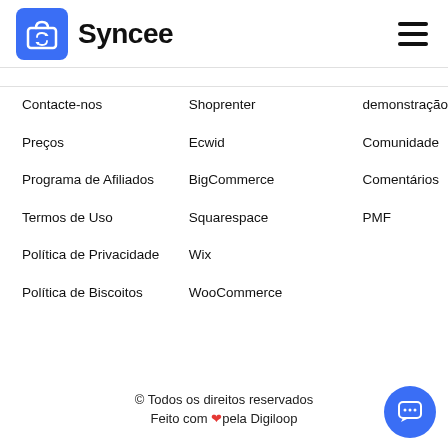[Figure (logo): Syncee logo with blue shopping bag icon and bold 'Syncee' text]
demonstração
Contacte-nos
Shoprenter
Comunidade
Preços
Ecwid
Comentários
Programa de Afiliados
BigCommerce
PMF
Termos de Uso
Squarespace
Política de Privacidade
Wix
Política de Biscoitos
WooCommerce
© Todos os direitos reservados
Feito com ❤pela Digiloop